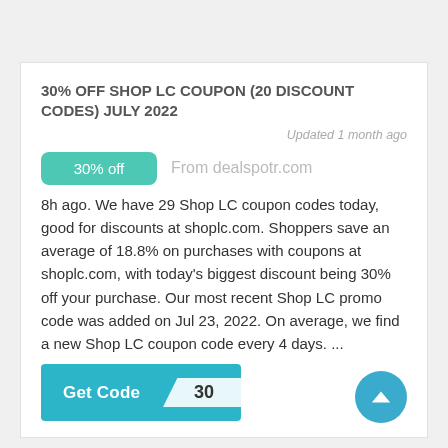30% OFF SHOP LC COUPON (20 DISCOUNT CODES) JULY 2022
Updated 1 month ago
30% off  From dealspotr.com
8h ago. We have 29 Shop LC coupon codes today, good for discounts at shoplc.com. Shoppers save an average of 18.8% on purchases with coupons at shoplc.com, with today's biggest discount being 30% off your purchase. Our most recent Shop LC promo code was added on Jul 23, 2022. On average, we find a new Shop LC coupon code every 4 days. ...
Get Code 30